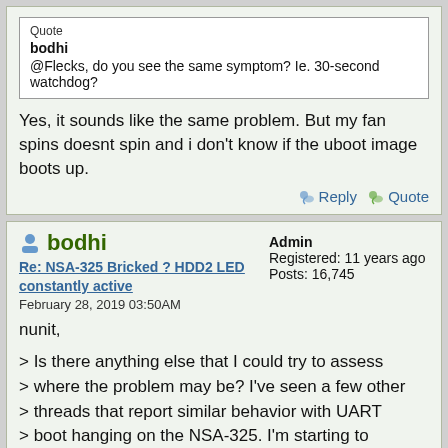Quote
bodhi
@Flecks, do you see the same symptom? Ie. 30-second watchdog?
Yes, it sounds like the same problem. But my fan spins doesnt spin and i don't know if the uboot image boots up.
Reply   Quote
bodhi
Re: NSA-325 Bricked ? HDD2 LED constantly active
February 28, 2019 03:50AM
Admin
Registered: 11 years ago
Posts: 16,745
nunit,

> Is there anything else that I could try to assess
> where the problem may be? I've seen a few other
> threads that report similar behavior with UART
> boot hanging on the NSA-325. I'm starting to
> suspect that this may be a somewhat common